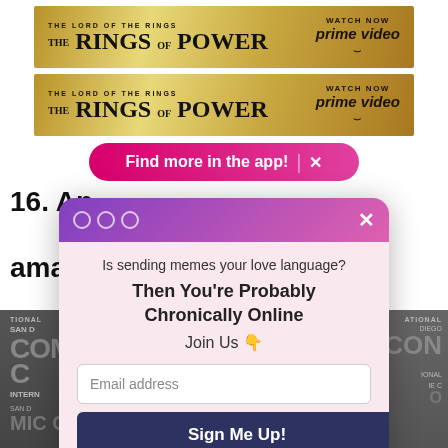[Figure (screenshot): Amazon Prime Video advertisement banner for 'The Lord of the Rings: The Rings of Power' with gold background, showing title and 'WATCH NOW prime video' text with Amazon arrow logo.]
[Figure (screenshot): Second Amazon Prime Video advertisement banner identical to the first one above.]
Find more in the app!  ×
16. And finally, Florence Pugh also plays Yelena, and these amazing men."
[Figure (screenshot): Comic-Con International background photo showing event signage, partially obscured by modal overlay.]
[Figure (screenshot): Email signup modal popup with gradient purple-pink header containing three circle dots and an X close button. Body on pink background reads: 'Is sending memes your love language? Then You're Probably Chronically Online Join Us 👇' with an Email address input field, a 'Sign Me Up!' dark navy button, and a 'No Thanks' underlined link.]